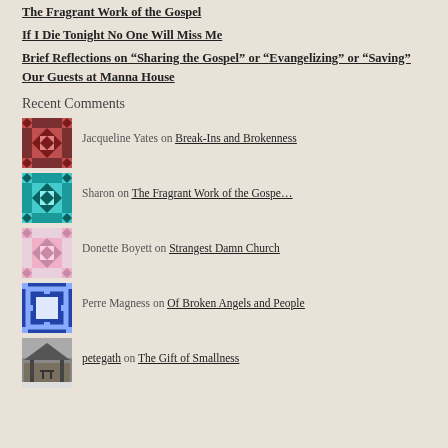The Fragrant Work of the Gospel
If I Die Tonight No One Will Miss Me
Brief Reflections on “Sharing the Gospel” or “Evangelizing” or “Saving” Our Guests at Manna House
Recent Comments
Jacqueline Yates on Break-Ins and Brokenness
Sharon on The Fragrant Work of the Gospe…
Donette Boyett on Strangest Damn Church
Perre Magness on Of Broken Angels and People
petegath on The Gift of Smallness